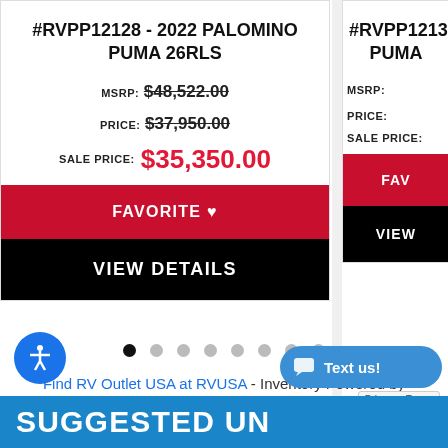#RVPP12128 - 2022 PALOMINO PUMA 26RLS
MSRP: $48,522.00
PRICE: $37,950.00
SALE PRICE: $35,350.00
FAVORITE
VIEW DETAILS
#RVPP12134 - ... PUMA...
MSRP:
PRICE:
SALE PRICE:
FAV...
VIEW...
Find RV Outlet USA at RVUSA - Inventory Powered by NetSource Media
SUGGESTED UNITS